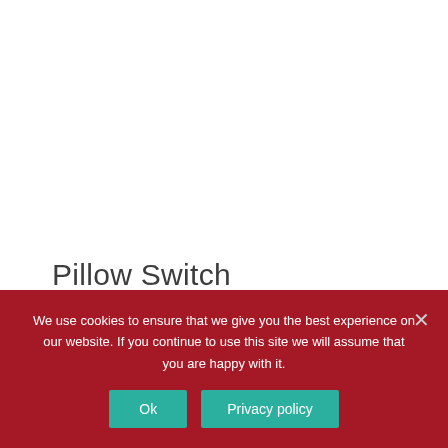Pillow Switch
Activated by pressing the top foam surface. Smooth
We use cookies to ensure that we give you the best experience on our website. If you continue to use this site we will assume that you are happy with it.